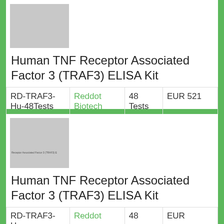[Figure (photo): Gray placeholder product image for TRAF3 ELISA Kit (top card)]
Human TNF Receptor Associated Factor 3 (TRAF3) ELISA Kit
| RD-TRAF3-Hu-48Tests | Reddot Biotech | 48 Tests | EUR 521 |
[Figure (photo): Gray placeholder product image for TRAF3 ELISA Kit (bottom card) with small label text 'Receptor Associated Factor 3 (TRAF3) E']
Human TNF Receptor Associated Factor 3 (TRAF3) ELISA Kit
| RD-TRAF3-Hu-... | Reddot... | 48... | EUR... |